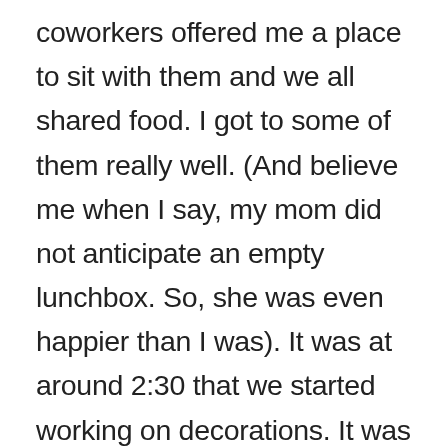coworkers offered me a place to sit with them and we all shared food. I got to some of them really well. (And believe me when I say, my mom did not anticipate an empty lunchbox. So, she was even happier than I was). It was at around 2:30 that we started working on decorations. It was a real pleasure working with Uma Sir, who is a very warm person with an easy-going personality. We worked on decorations till 5 and then the Party Started. Everyone came out of the workspace; the energy of the whole place could be seen transforming into the exuberance. A lot of pictures were being clicked with the Christmas tree, when Pallavi mam came with the list of the fun-filled activities for the staff. Two teams, Three Different